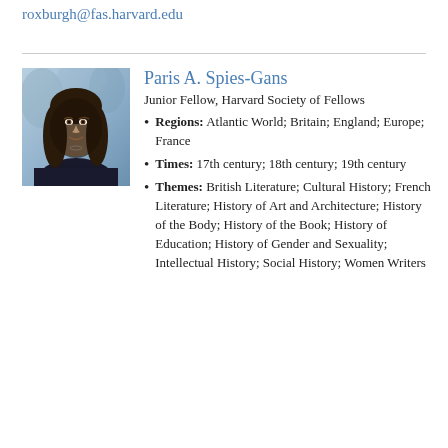roxburgh@fas.harvard.edu
[Figure (photo): Portrait photo of Paris A. Spies-Gans, a woman with long dark hair wearing a dark top, photographed outdoors.]
Paris A. Spies-Gans
Junior Fellow, Harvard Society of Fellows
Regions: Atlantic World; Britain; England; Europe; France
Times: 17th century; 18th century; 19th century
Themes: British Literature; Cultural History; French Literature; History of Art and Architecture; History of the Body; History of the Book; History of Education; History of Gender and Sexuality; Intellectual History; Social History; Women Writers